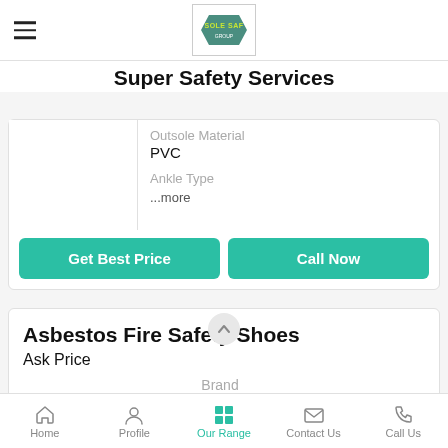Super Safety Services
Outsole Material
PVC
Ankle Type
...more
Get Best Price
Call Now
Asbestos Fire Safety Shoes
Ask Price
Brand
Home  Profile  Our Range  Contact Us  Call Us